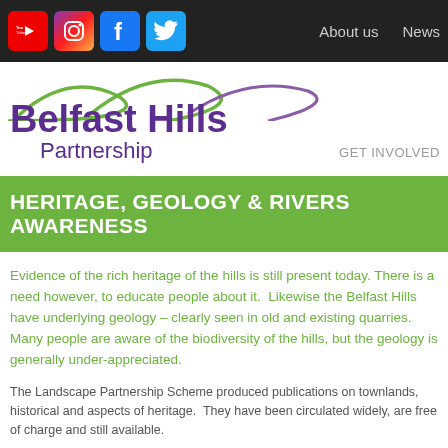Social media links: YouTube, Instagram, Facebook, Twitter | About us | News
[Figure (logo): Belfast Hills Partnership logo with green hills arc illustration above purple and green text]
HERITAGE, GEOLOGY & RIVERS AWARENESS
Evidence of the rich heritage of the hills is still present today. There is a need however, to educate people about it. Likewise the Belfast Hills have underlying geology – clearly seen in old and existing quarries. Many people are aware of the biodiversity of the hills, but the geology is generally under-appreciated.
The Landscape Partnership Scheme produced publications on townlands, history and aspects of heritage. They have been circulated widely, are free of charge and still available.